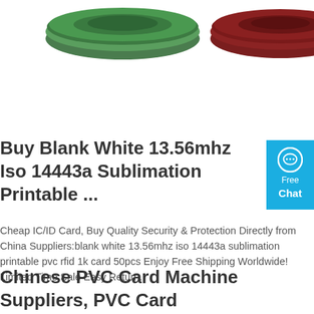[Figure (photo): Two round colored discs/tokens visible at the top of the page — one green on the left and one dark red/maroon on the right, photographed against a white background.]
Buy Blank White 13.56mhz Iso 14443a Sublimation Printable ...
[Figure (infographic): Blue chat widget on the right side showing a speech bubble icon, with 'Free Chat' text in white.]
Cheap IC/ID Card, Buy Quality Security & Protection Directly from China Suppliers:blank white 13.56mhz iso 14443a sublimation printable pvc rfid 1k card 50pcs Enjoy Free Shipping Worldwide! Limited Time Sale Easy Return.
[Figure (other): Orange rounded button labeled 'Get Price']
Chinese PVC Card Machine Suppliers, PVC Card